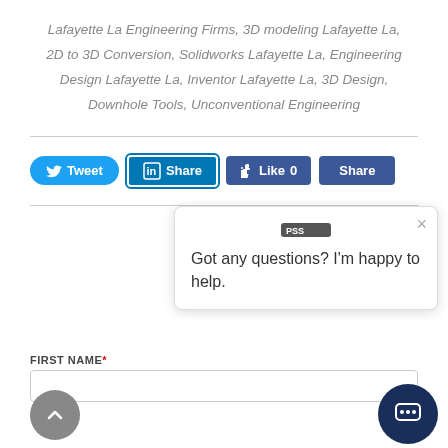Lafayette La Engineering Firms, 3D modeling Lafayette La, 2D to 3D Conversion, Solidworks Lafayette La, Engineering Design Lafayette La, Inventor Lafayette La, 3D Design, Downhole Tools, Unconventional Engineering
[Figure (other): Social share buttons: Tweet (Twitter), Share (LinkedIn), Like 0 (Facebook), Share (Facebook)]
[Figure (screenshot): Chat popup widget with logo, close X button, and text: Got any questions? I'm happy to help.]
FIRST NAME*
LAST NAME